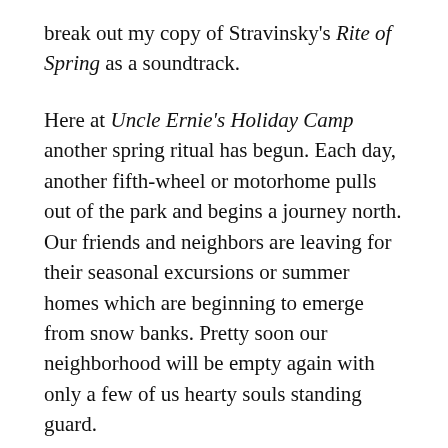break out my copy of Stravinsky's Rite of Spring as a soundtrack.
Here at Uncle Ernie's Holiday Camp another spring ritual has begun. Each day, another fifth-wheel or motorhome pulls out of the park and begins a journey north. Our friends and neighbors are leaving for their seasonal excursions or summer homes which are beginning to emerge from snow banks. Pretty soon our neighborhood will be empty again with only a few of us hearty souls standing guard.
Although Anne and I don't have a Montana home, even we've put pennies aside to escape